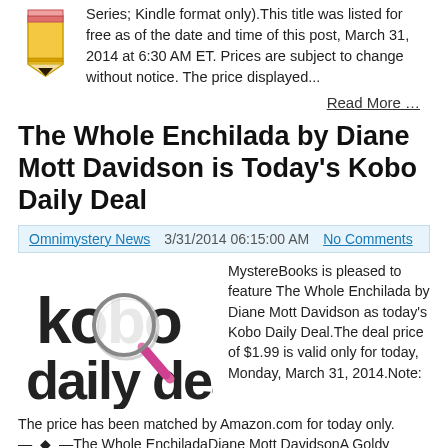[Figure (illustration): Pencil icon in top left corner]
Series; Kindle format only).This title was listed for free as of the date and time of this post, March 31, 2014 at 6:30 AM ET. Prices are subject to change without notice. The price displayed...
Read More …
The Whole Enchilada by Diane Mott Davidson is Today's Kobo Daily Deal
Omnimystery News   3/31/2014 06:15:00 AM   No Comments
[Figure (logo): Kobo daily deal logo with magnifying glass]
MystereBooks is pleased to feature The Whole Enchilada by Diane Mott Davidson as today's Kobo Daily Deal.The deal price of $1.99 is valid only for today, Monday, March 31, 2014.Note:
The price has been matched by Amazon.com for today only.—  ♦  —The Whole EnchiladaDiane Mott DavidsonA Goldy Schulz